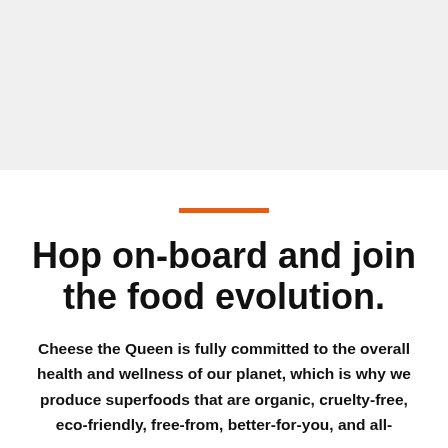[Figure (other): Gray banner/image placeholder area at the top of the page]
Hop on-board and join the food evolution.
Cheese the Queen is fully committed to the overall health and wellness of our planet, which is why we produce superfoods that are organic, cruelty-free, eco-friendly, free-from, better-for-you, and all-